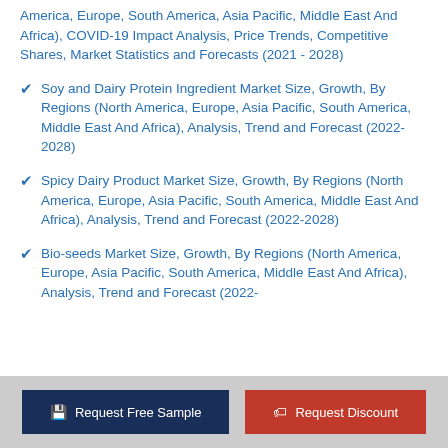America, Europe, South America, Asia Pacific, Middle East And Africa), COVID-19 Impact Analysis, Price Trends, Competitive Shares, Market Statistics and Forecasts (2021 - 2028)
Soy and Dairy Protein Ingredient Market Size, Growth, By Regions (North America, Europe, Asia Pacific, South America, Middle East And Africa), Analysis, Trend and Forecast (2022-2028)
Spicy Dairy Product Market Size, Growth, By Regions (North America, Europe, Asia Pacific, South America, Middle East And Africa), Analysis, Trend and Forecast (2022-2028)
Bio-seeds Market Size, Growth, By Regions (North America, Europe, Asia Pacific, South America, Middle East And Africa), Analysis, Trend and Forecast (2022-
Request Free Sample | Request Discount